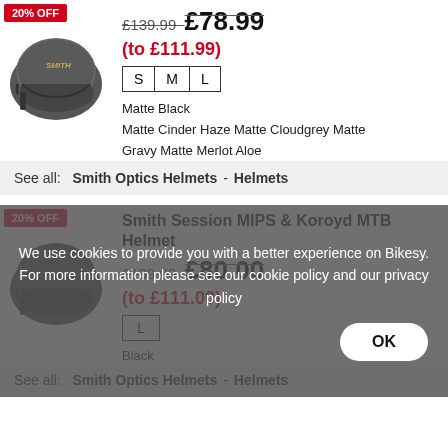[Figure (photo): Smith bicycle helmet in dark color, side view]
£139.99  £78.99
(to £111.99)
S  M  L
Matte Black
Matte Cinder Haze Matte Cloudgrey Matte Gravy Matte Merlot Aloe
See all:  Smith Optics Helmets - Helmets
20% OFF
Smith Session MIPS & Koroyd MTB Helmet
£139.00  £80.00
(to £111.00)
L
Black
We use cookies to provide you with a better experience on Bikesy. For more information please see our cookie policy and our privacy policy
See all:  Smith Optics Helmets - Helmets